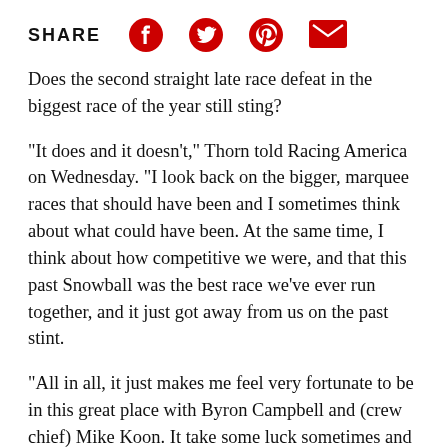SHARE [social icons: Facebook, Twitter, Pinterest, Email]
Does the second straight late race defeat in the biggest race of the year still sting?
"It does and it doesn't," Thorn told Racing America on Wednesday. "I look back on the bigger, marquee races that should have been and I sometimes think about what could have been. At the same time, I think about how competitive we were, and that this past Snowball was the best race we've ever run together, and it just got away from us on the past stint.
"All in all, it just makes me feel very fortunate to be in this great place with Byron Campbell and (crew chief) Mike Koon. It take some luck sometimes and